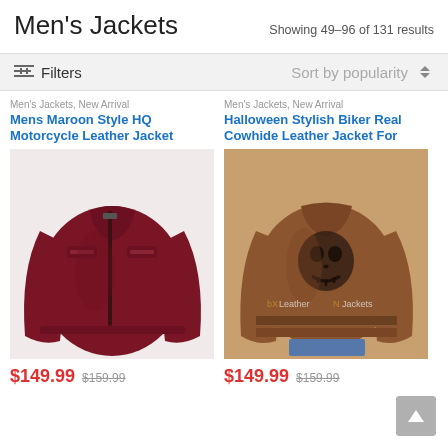Men's Jackets
Showing 49–96 of 131 results
≡ Filters   Sort by popularity ⬍
Men's Jackets, New Arrival
Mens Maroon Style HQ Motorcycle Leather Jacket
[Figure (photo): Maroon motorcycle leather jacket product photo]
$149.99  $159.99
Men's Jackets, New Arrival
Halloween Stylish Biker Real Cowhide Leather Jacket For
[Figure (photo): Brown cowhide biker leather jacket with Halloween skull design on back, product photo]
$149.99  $159.99